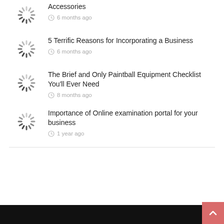Accessories — 6 months ago
5 Terrific Reasons for Incorporating a Business — 6 months ago
The Brief and Only Paintball Equipment Checklist You'll Ever Need — 8 months ago
Importance of Online examination portal for your business — 1 year ago